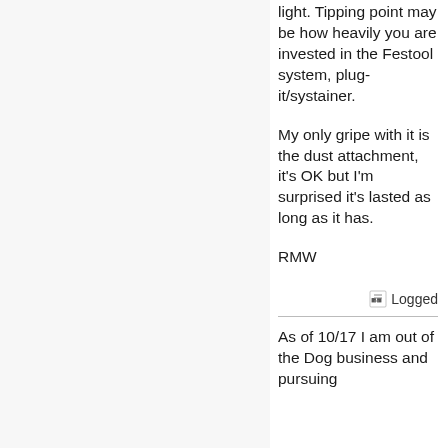light. Tipping point may be how heavily you are invested in the Festool system, plug-it/systainer.
My only gripe with it is the dust attachment, it's OK but I'm surprised it's lasted as long as it has.
RMW
Logged
As of 10/17 I am out of the Dog business and pursuing